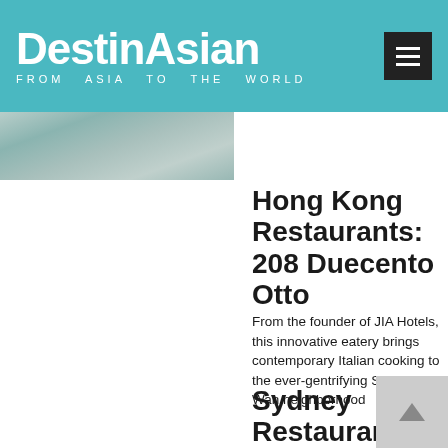DestinAsian FROM ASIA TO THE WORLD
[Figure (photo): Partial landscape/harbor photo strip at top left below header]
Hong Kong Restaurants: 208 Duecento Otto
From the founder of JIA Hotels, this innovative eatery brings contemporary Italian cooking to the ever-gentrifying Sheung Wan neighborhood
Sydney Restaurants: Mod-Oz Magic at Tomislav
A new harbor-side